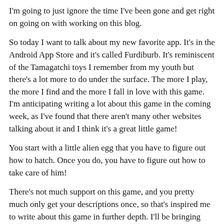I'm going to just ignore the time I've been gone and get right on going on with working on this blog.
So today I want to talk about my new favorite app.  It's in the Android App Store and it's called Furdiburb.  It's reminiscent of the Tamagatchi toys I remember from my youth but there's a lot more to do under the surface.  The more I play, the more I find and the more I fall in love with this game.  I'm anticipating writing a lot about this game in the coming week, as I've found that there aren't many other websites talking about it and I think it's a great little game!
You start with a little alien egg that you have to figure out how to hatch.  Once you do, you have to figure out how to take care of him!
There's not much support on this game, and you pretty much only get your descriptions once, so that's inspired me to write about this game in further depth.  I'll be bringing you more of my review and write-up tomorrow!
If you play the game and would like to give your input, please